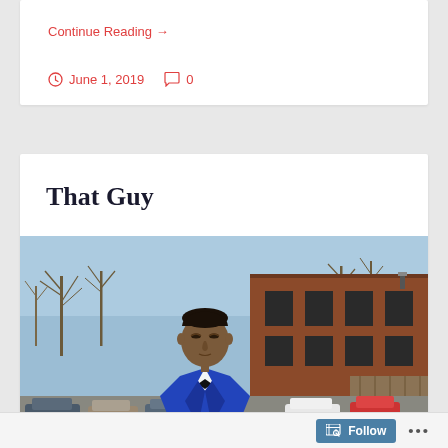Continue Reading →
June 1, 2019   0
That Guy
[Figure (photo): Young man dressed in a blue suit with a black bow tie, standing outdoors in front of a brick building with bare trees and parked cars visible in the background.]
Follow  •••